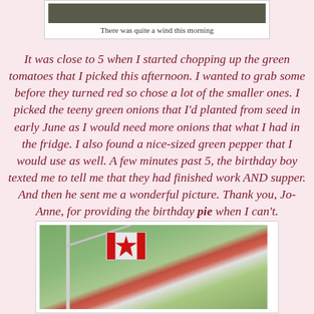[Figure (photo): Partial photo of outdoor scene visible at top of page, cropped]
There was quite a wind this morning
It was close to 5 when I started chopping up the green tomatoes that I picked this afternoon. I wanted to grab some before they turned red so chose a lot of the smaller ones. I picked the teeny green onions that I'd planted from seed in early June as I would need more onions that what I had in the fridge. I also found a nice-sized green pepper that I would use as well. A few minutes past 5, the birthday boy texted me to tell me that they had finished work AND supper. And then he sent me a wonderful picture. Thank you, Jo-Anne, for providing the birthday pie when I can't.
[Figure (photo): Photo of a Canadian flag flying in wind on a flagpole, with green trees in background and blue sky]